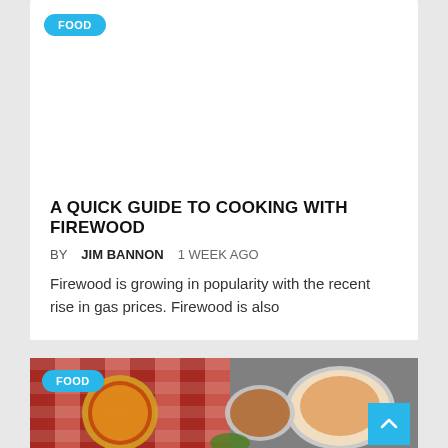FOOD
A QUICK GUIDE TO COOKING WITH FIREWOOD
BY JIM BANNON    1 WEEK AGO
Firewood is growing in popularity with the recent rise in gas prices. Firewood is also
[Figure (photo): Food photo showing pizza and pasta dishes on a checkered tablecloth]
FOOD